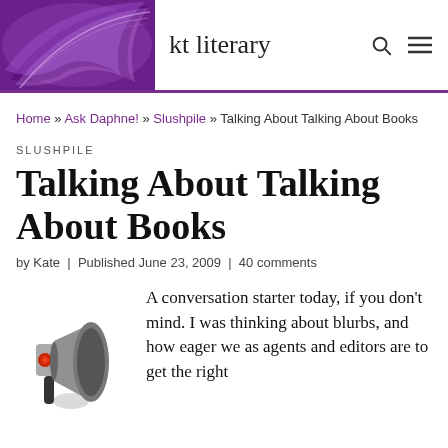[Figure (screenshot): kt literary website header with purple logo/banner image and site name 'kt literary', search and menu icons]
Home » Ask Daphne! » Slushpile » Talking About Talking About Books
SLUSHPILE
Talking About Talking About Books
by Kate  |  Published June 23, 2009  |  40 comments
[Figure (photo): A megaphone/bullhorn facing left on a white background]
A conversation starter today, if you don't mind. I was thinking about blurbs, and how eager we as agents and editors are to get the right